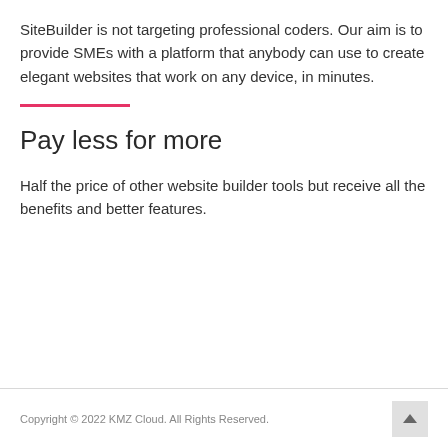SiteBuilder is not targeting professional coders. Our aim is to provide SMEs with a platform that anybody can use to create elegant websites that work on any device, in minutes.
Pay less for more
Half the price of other website builder tools but receive all the benefits and better features.
Copyright © 2022 KMZ Cloud. All Rights Reserved.